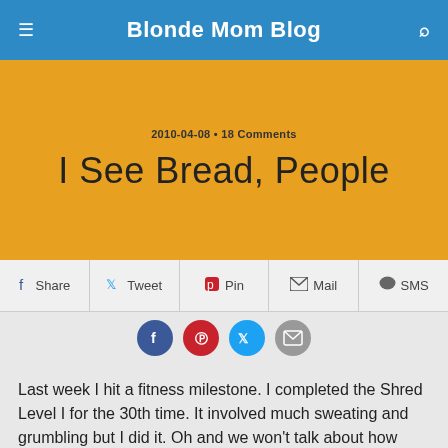Blonde Mom Blog
I See Bread, People
2010-04-08 • 18 Comments
Share  Tweet  Pin  Mail  SMS
Last week I hit a fitness milestone. I completed the Shred Level I for the 30th time. It involved much sweating and grumbling but I did it. Oh and we won't talk about how long it took me to do it 30 times. I didn't say 30 consecutive times. Ahem.